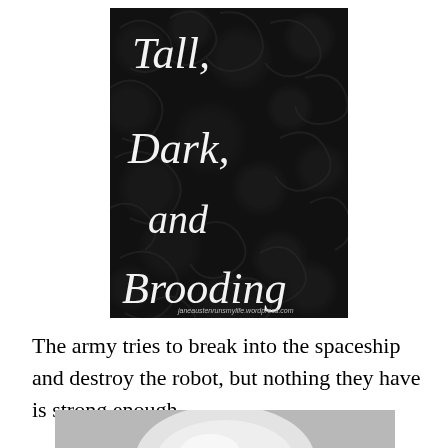[Figure (illustration): Dark decorative book cover with ornate floral/swirl pattern background in dark grey/black. White italic script text reads 'Tall, Dark, and Brooding' stacked vertically. URL 'janeaustenrunsmylife.wordpress.com' at bottom right.]
The army tries to break into the spaceship and destroy the robot, but nothing they have is strong enough.
[Figure (photo): Partial black and white photograph showing what appears to be a reflective spherical or egg-shaped metallic object against a light grey background. Only the top portion is visible.]